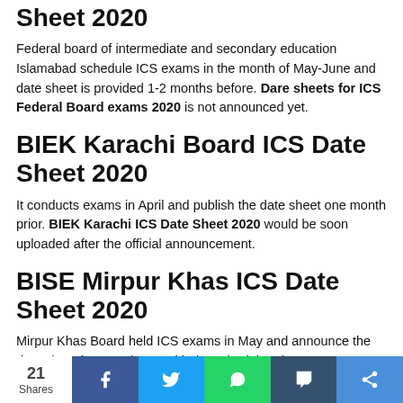Sheet 2020
Federal board of intermediate and secondary education Islamabad schedule ICS exams in the month of May-June and date sheet is provided 1-2 months before. Dare sheets for ICS Federal Board exams 2020 is not announced yet.
BIEK Karachi Board ICS Date Sheet 2020
It conducts exams in April and publish the date sheet one month prior. BIEK Karachi ICS Date Sheet 2020 would be soon uploaded after the official announcement.
BISE Mirpur Khas ICS Date Sheet 2020
Mirpur Khas Board held ICS exams in May and announce the date sheet in accordance with the schedule. The ICS Date Sheet 2020 is coming soon.
21 Shares | Share buttons: Facebook, Twitter, WhatsApp, Tumblr, Share